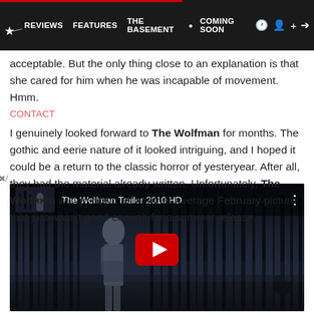REVIEWS | FEATURES | THE BASEMENT | COMING SOON
acceptable. But the only thing close to an explanation is that she cared for him when he was incapable of movement. Hmm.
I genuinely looked forward to The Wolfman for months. The gothic and eerie nature of it looked intriguing, and I hoped it could be a return to the classic horror of yesteryear. After all, they had the material already written. Unfortunately, The Wolfman will go down as another average February picture that just wasn't good enough for a summer release.
[Figure (screenshot): YouTube video embed showing The Wolfman Trailer 2010 HD. Dark background with a woman standing in a forest of bare trees, with a YouTube play button in the center.]